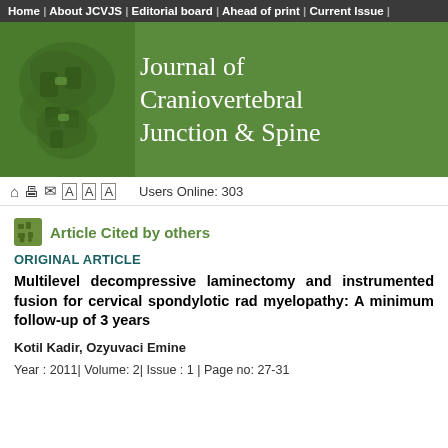Home | About JCVJS | Editorial board | Ahead of print | Current Issue |
[Figure (illustration): Journal of Craniovertebral Junction & Spine banner with green background and anatomical illustration on the left]
Journal of Craniovertebral Junction & Spine
Users Online: 303
Article Cited by others
ORIGINAL ARTICLE
Multilevel decompressive laminectomy and instrumented fusion for cervical spondylotic rad myelopathy: A minimum follow-up of 3 years
Kotil Kadir, Ozyuvaci Emine
Year : 2011| Volume: 2| Issue : 1 | Page no: 27-31